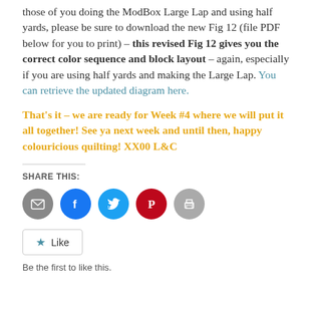those of you doing the ModBox Large Lap and using half yards, please be sure to download the new Fig 12 (file PDF below for you to print) – this revised Fig 12 gives you the correct color sequence and block layout – again, especially if you are using half yards and making the Large Lap. You can retrieve the updated diagram here.
That's it – we are ready for Week #4 where we will put it all together! See ya next week and until then, happy colouricious quilting! XX00 L&C
SHARE THIS:
[Figure (infographic): Row of 5 social share icon circles: email (gray), Facebook (blue), Twitter (light blue), Pinterest (red), print (gray)]
[Figure (infographic): Like button widget with star icon and 'Like' text in a rounded rectangle box]
Be the first to like this.